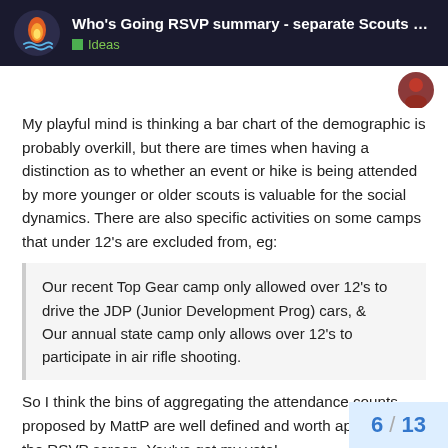Who's Going RSVP summary - separate Scouts ... | Ideas
My playful mind is thinking a bar chart of the demographic is probably overkill, but there are times when having a distinction as to whether an event or hike is being attended by more younger or older scouts is valuable for the social dynamics. There are also specific activities on some camps that under 12’s are excluded from, eg:
Our recent Top Gear camp only allowed over 12’s to drive the JDP (Junior Development Prog) cars, &
Our annual state camp only allows over 12’s to participate in air rifle shooting.
So I think the bins of aggregating the attendance counts proposed by MattP are well defined and worth applying to the RSVP screen. You’ve got my vote!
6 / 13